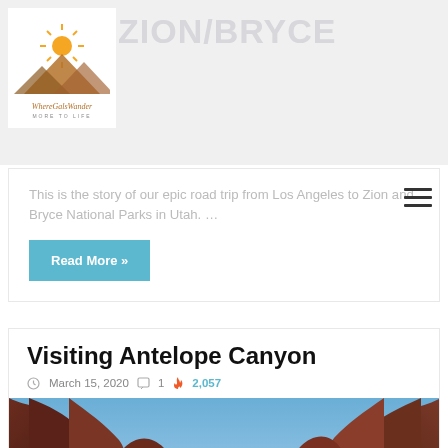[Figure (logo): WhereGalsWander logo with sun and mountains illustration]
ZION/BRYCE
This is the story of our epic road trip from Los Angeles to Zion and Bryce National Parks in Utah. …
Read More »
Visiting Antelope Canyon
March 15, 2020  1  2,057
[Figure (photo): Antelope Canyon photo showing red sandstone swirling rock formations with blue sky visible above]